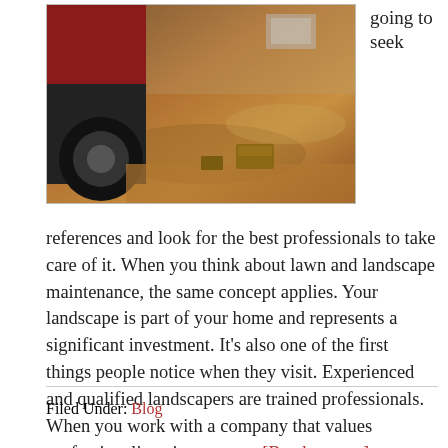[Figure (photo): A truck or heavy vehicle on a dirt/construction site with scattered bricks/blocks on the ground, brown earth tones.]
going to seek
references and look for the best professionals to take care of it. When you think about lawn and landscape maintenance, the same concept applies. Your landscape is part of your home and represents a significant investment. It’s also one of the first things people notice when they visit. Experienced and qualified landscapers are trained professionals. When you work with a company that values professionalism, it means ... [Read more...]
Filed Under: Blog